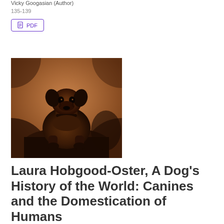Vicky Googasian (Author)
135-139
PDF
[Figure (photo): Sepia-toned vintage photograph of a pug dog sitting upright on a surface, looking at the camera, with an orange-brown tint.]
Laura Hobgood-Oster, A Dog's History of the World: Canines and the Domestication of Humans